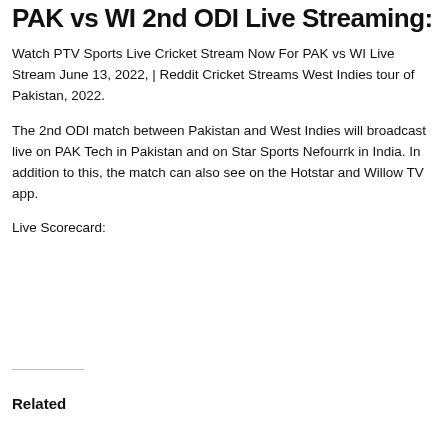PAK vs WI 2nd ODI Live Streaming:
Watch PTV Sports Live Cricket Stream Now For PAK vs WI Live Stream June 13, 2022, | Reddit Cricket Streams West Indies tour of Pakistan, 2022.
The 2nd ODI match between Pakistan and West Indies will broadcast live on PAK Tech in Pakistan and on Star Sports Nefourrk in India. In addition to this, the match can also see on the Hotstar and Willow TV app.
Live Scorecard:
Related